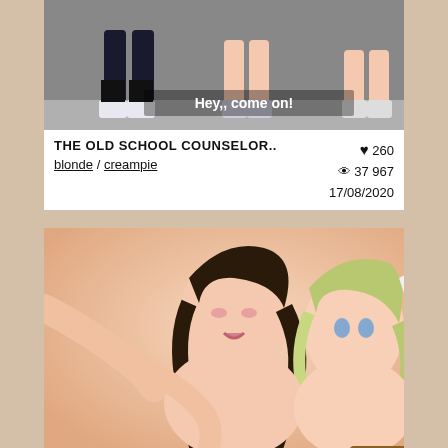[Figure (screenshot): Anime thumbnail showing legs scene with subtitle overlay 'Hey, come on!' and MORE badge]
THE OLD SCHOOL COUNSELOR..
blonde / creampie
♥ 260  👁 37967  17/08/2020
[Figure (illustration): Anime illustration showing two anime female characters]
SAKURA BASEMENT UNCENSORED..
♥ 124